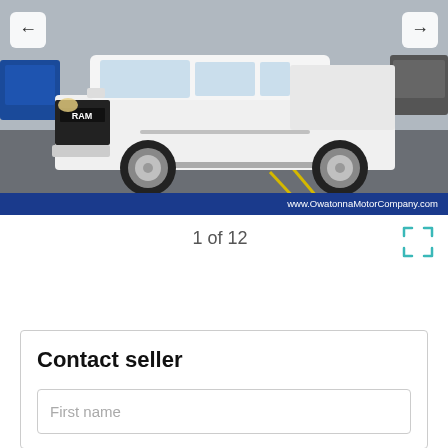[Figure (photo): White Ram pickup truck (crew cab) photographed in a parking lot at Owatonna Motor Company. Navigation arrows visible on left and right sides of image. Blue bar at bottom with watermark.]
1 of 12
Contact seller
First name